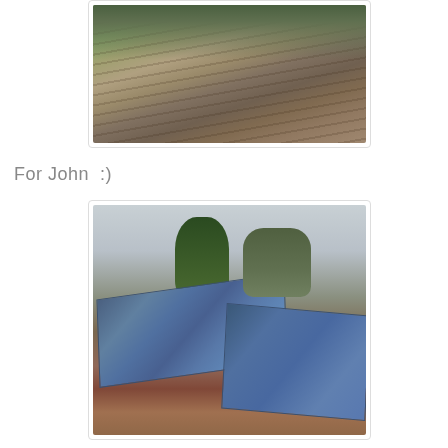[Figure (photo): Aerial or elevated view of rocky terraced hillside with olive trees and curved agricultural rows]
For John  :)
[Figure (photo): Outdoor solar panel installation on a hillside with trees in the background, panels mounted on wooden/concrete supports on red-brown earth]